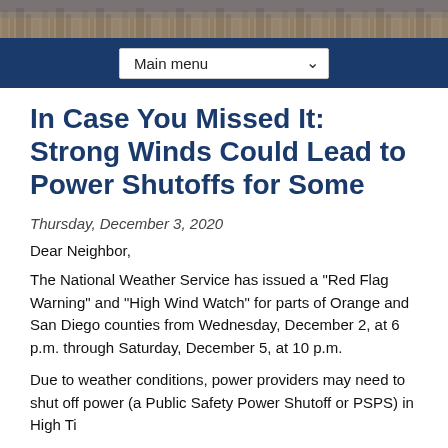[Figure (photo): Aerial photo of a neighborhood/city landscape used as a decorative page header banner]
Main menu
In Case You Missed It: Strong Winds Could Lead to Power Shutoffs for Some
Thursday, December 3, 2020
Dear Neighbor,
The National Weather Service has issued a “Red Flag Warning” and “High Wind Watch” for parts of Orange and San Diego counties from Wednesday, December 2, at 6 p.m. through Saturday, December 5, at 10 p.m.
Due to weather conditions, power providers may need to shut off power (a Public Safety Power Shutoff or PSPS) in High Ti...